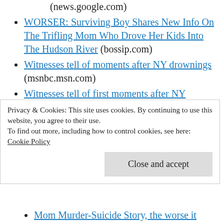(news.google.com)
WORSER: Surviving Boy Shares New Info On The Trifling Mom Who Drove Her Kids Into The Hudson River (bossip.com)
Witnesses tell of moments after NY drownings (msnbc.msn.com)
Witnesses tell of first moments after NY drownings (msnbc.msn.com)
mayor calls Hudson River deaths "a tragedy" – CBS News (news.google.com)
Witnesses tell of first moments after NY
Privacy & Cookies: This site uses cookies. By continuing to use this website, you agree to their use.
To find out more, including how to control cookies, see here:
Cookie Policy
Mom Murder-Suicide Story, the worse it